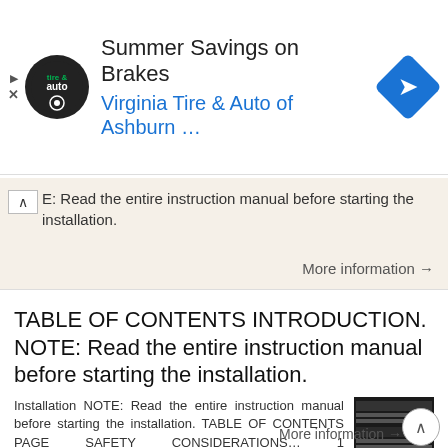[Figure (logo): Advertisement banner: Virginia Tire & Auto of Ashburn logo with circular black badge, headline 'Summer Savings on Brakes', subtitle 'Virginia Tire & Auto of Ashburn ...', and a blue diamond navigation icon on the right.]
E: Read the entire instruction manual before starting the installation.
More information →
TABLE OF CONTENTS INTRODUCTION. NOTE: Read the entire instruction manual before starting the installation.
Installation NOTE: Read the entire instruction manual before starting the installation. TABLE OF CONTENTS PAGE SAFETY CONSIDERATIONS… 1 INTRODUCTION… 1 INSTALLATION… 2 Inspect Equipment… 2 Select
More information →